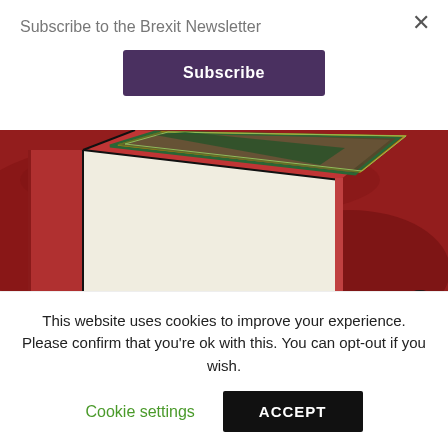Subscribe to the Brexit Newsletter
Subscribe
[Figure (photo): Close-up photo of a red hardcover book with decorative green and gold cover design, placed on a red patterned surface]
A new analysis by Irwin Mitchell
This website uses cookies to improve your experience. Please confirm that you're ok with this. You can opt-out if you wish.
Cookie settings
ACCEPT